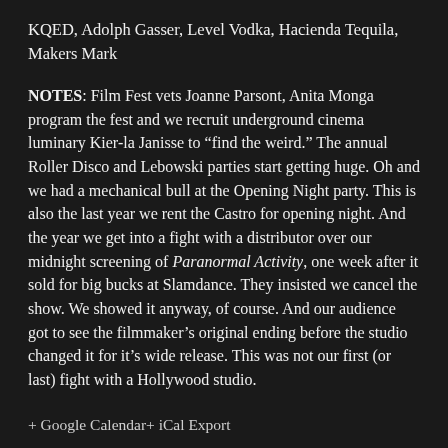KQED, Adolph Gasser, Level Vodka, Hacienda Tequila, Makers Mark
NOTES: Film Fest vets Joanne Parsont, Anita Monga program the fest and we recruit underground cinema luminary Kier-la Janisse to “find the weird.” The annual Roller Disco and Lebowski parties start getting huge. Oh and we had a mechanical bull at the Opening Night party. This is also the last year we rent the Castro for opening night. And the year we get into a fight with a distributor over our midnight screening of Paranormal Activity, one week after it sold for big bucks at Slamdance. They insisted we cancel the show. We showed it anyway, of course. And our audience got to see the filmmaker’s original ending before the studio changed it for it’s wide release. This was not our first (or last) fight with a Hollywood studio.
+ Google Calendar+ iCal Export